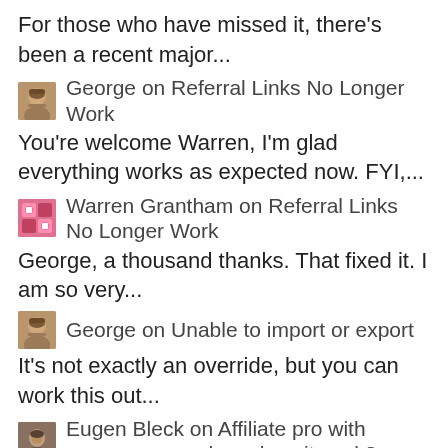For those who have missed it, there's been a recent major...
George on Referral Links No Longer Work
You're welcome Warren, I'm glad everything works as expected now. FYI,...
Warren Grantham on Referral Links No Longer Work
George, a thousand thanks. That fixed it. I am so very...
George on Unable to import or export
It's not exactly an override, but you can work this out...
Eugen Bleck on Affiliate pro with woocommerce how does it work?
Hi Crystal, Good morning. I trust you are well and